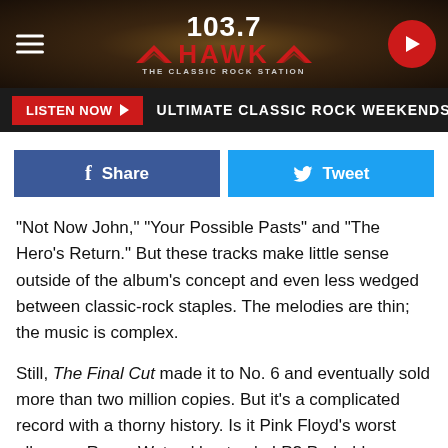[Figure (screenshot): 103.7 The Hawk classic rock radio station header banner with logo, hamburger menu, and play button]
LISTEN NOW ▶  ULTIMATE CLASSIC ROCK WEEKENDS
[Figure (infographic): Social sharing buttons: Facebook Share and Twitter Tweet]
"Not Now John," "Your Possible Pasts" and "The Hero's Return." But these tracks make little sense outside of the album's concept and even less wedged between classic-rock staples. The melodies are thin; the music is complex.
Still, The Final Cut made it to No. 6 and eventually sold more than two million copies. But it's a complicated record with a thorny history. Is it Pink Floyd's worst album or Roger Waters' best solo LP? Probably yes on both counts.